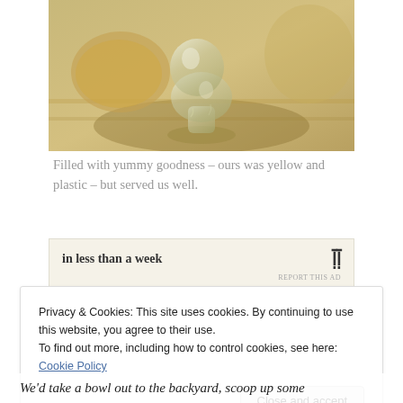[Figure (photo): Close-up photo of a glass chess piece (pawn or rook shape) on a wooden surface, warm sepia/golden tones]
Filled with yummy goodness – ours was yellow and plastic – but served us well.
[Figure (other): Advertisement banner with text 'in less than a week' and logo on cream background, with 'REPORT THIS AD' link]
Privacy & Cookies: This site uses cookies. By continuing to use this website, you agree to their use.
To find out more, including how to control cookies, see here: Cookie Policy
We'd take a bowl out to the backyard, scoop up some